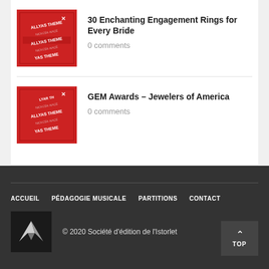30 Enchanting Engagement Rings for Every Bride
0 comments
GEM Awards – Jewelers of America
0 comments
ACCUEIL   PÉDAGOGIE MUSICALE   PARTITIONS   CONTACT
© 2020 Société d'édition de l'Istorlet
TOP